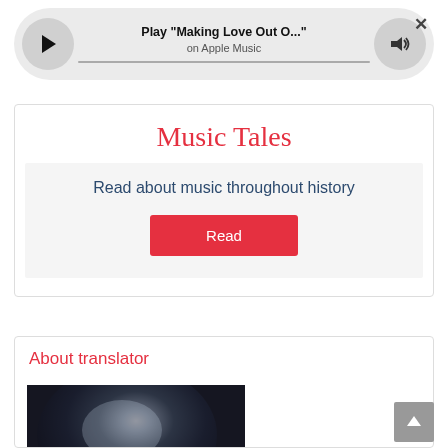[Figure (screenshot): Apple Music media player bar with play button, track title 'Play "Making Love Out O..."', subtitle 'on Apple Music', volume button, close button, and progress bar]
Music Tales
Read about music throughout history
Read
About translator
[Figure (photo): Dark artistic photo, appears to show a person or figure with dramatic lighting]